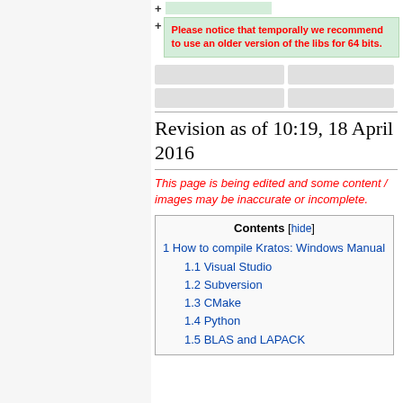Please notice that temporally we recommend to use an older version of the libs for 64 bits.
Revision as of 10:19, 18 April 2016
This page is being edited and some content / images may be inaccurate or incomplete.
| Contents | [hide] |
| --- | --- |
| 1 How to compile Kratos: Windows Manual |  |
| 1.1 Visual Studio |  |
| 1.2 Subversion |  |
| 1.3 CMake |  |
| 1.4 Python |  |
| 1.5 BLAS and LAPACK |  |